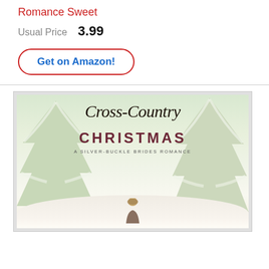Romance Sweet
Usual Price   3.99
Get on Amazon!
[Figure (photo): Book cover for 'Cross-Country Christmas: A Silver-Buckle Brides Romance' showing a winter scene with snow-covered evergreen trees and a snowy landscape. The title is written in cursive script at the top and CHRISTMAS in bold letters below it.]